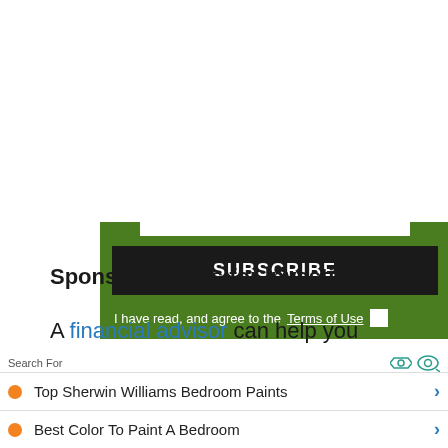[Figure (other): Green subscribe box with black SUBSCRIBE button and Terms of Use checkbox]
Sponsored: Tips for Investing
A financial advisor can help you understand the advantages and disadvantages of investment properties. Finding a qualified
Search For | Top Sherwin Williams Bedroom Paints | Best Color To Paint A Bedroom